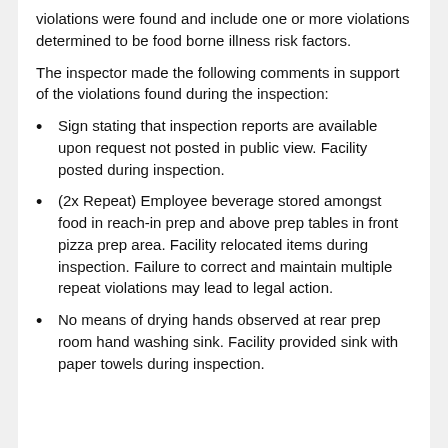violations were found and include one or more violations determined to be food borne illness risk factors.
The inspector made the following comments in support of the violations found during the inspection:
Sign stating that inspection reports are available upon request not posted in public view. Facility posted during inspection.
(2x Repeat) Employee beverage stored amongst food in reach-in prep and above prep tables in front pizza prep area. Facility relocated items during inspection. Failure to correct and maintain multiple repeat violations may lead to legal action.
No means of drying hands observed at rear prep room hand washing sink. Facility provided sink with paper towels during inspection.